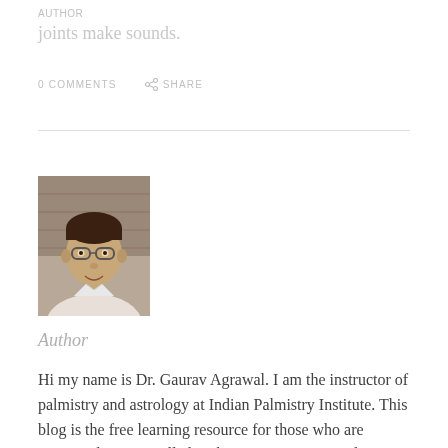joints make sounds.
0 COMMENTS    SHARE
[Figure (photo): Author headshot photo of Dr. Gaurav Agrawal, a man wearing glasses, smiling slightly, wearing a white shirt]
Author
Hi my name is Dr. Gaurav Agrawal. I am the instructor of palmistry and astrology at Indian Palmistry Institute. This blog is the free learning resource for those who are interested. Here i will also share my own personal